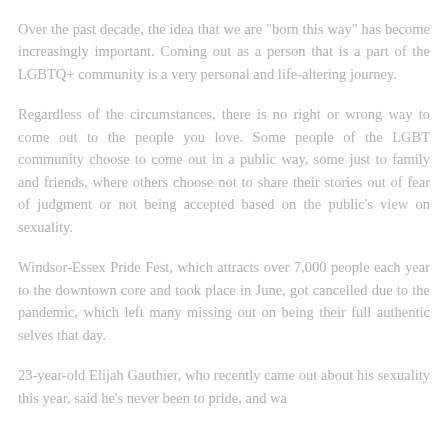Over the past decade, the idea that we are "born this way" has become increasingly important. Coming out as a person that is a part of the LGBTQ+ community is a very personal and life-altering journey.
Regardless of the circumstances, there is no right or wrong way to come out to the people you love. Some people of the LGBT community choose to come out in a public way, some just to family and friends, where others choose not to share their stories out of fear of judgment or not being accepted based on the public's view on sexuality.
Windsor-Essex Pride Fest, which attracts over 7,000 people each year to the downtown core and took place in June, got cancelled due to the pandemic, which left many missing out on being their full authentic selves that day.
23-year-old Elijah Gauthier, who recently came out about his sexuality this year, said he's never been to pride, and wa...